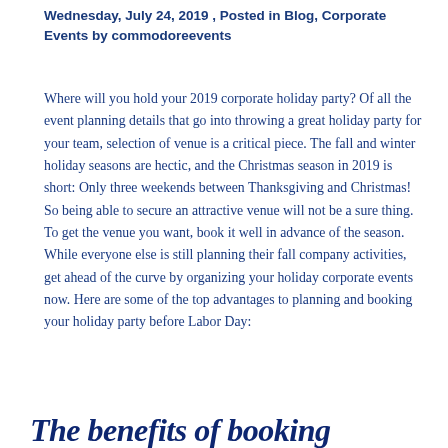Wednesday, July 24, 2019 , Posted in Blog, Corporate Events by commodoreevents
Where will you hold your 2019 corporate holiday party? Of all the event planning details that go into throwing a great holiday party for your team, selection of venue is a critical piece. The fall and winter holiday seasons are hectic, and the Christmas season in 2019 is short: Only three weekends between Thanksgiving and Christmas! So being able to secure an attractive venue will not be a sure thing. To get the venue you want, book it well in advance of the season. While everyone else is still planning their fall company activities, get ahead of the curve by organizing your holiday corporate events now. Here are some of the top advantages to planning and booking your holiday party before Labor Day:
The benefits of booking